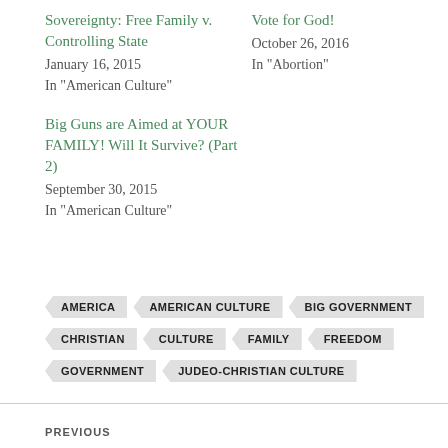Sovereignty: Free Family v. Controlling State
January 16, 2015
In "American Culture"
Vote for God!
October 26, 2016
In "Abortion"
Big Guns are Aimed at YOUR FAMILY! Will It Survive? (Part 2)
September 30, 2015
In "American Culture"
AMERICA
AMERICAN CULTURE
BIG GOVERNMENT
CHRISTIAN
CULTURE
FAMILY
FREEDOM
GOVERNMENT
JUDEO-CHRISTIAN CULTURE
PREVIOUS